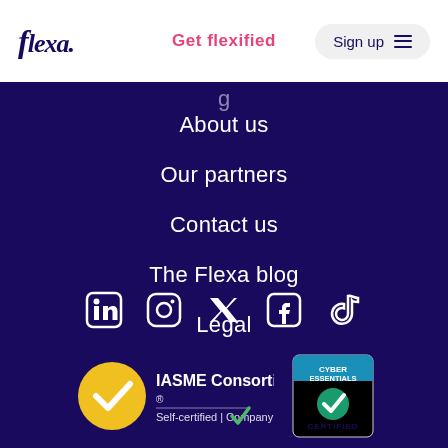flexa. | Get flexified | Sign up
About us
Our partners
Contact us
The Flexa blog
Legal
[Figure (infographic): Social media icons: LinkedIn, Instagram, Twitter, Facebook, TikTok]
[Figure (logo): IASME Consortium Self-certified Company badge and Cyber Essentials Certified badge]